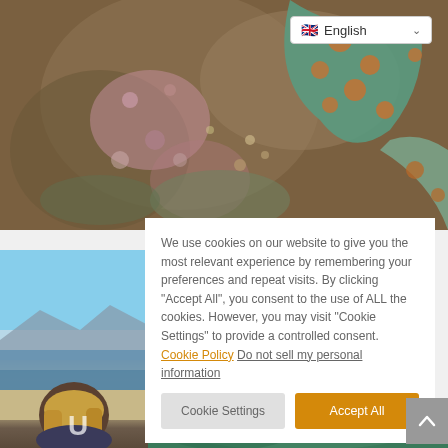[Figure (photo): Close-up photo of a starfish/sea star with spotted teal and orange coloring against a rocky surface with barnacles]
[Figure (screenshot): Language selector dropdown showing UK flag and 'English' with a chevron]
[Figure (photo): Photo of a person with blonde hair looking out at a coastal landscape with mountains and ocean]
We use cookies on our website to give you the most relevant experience by remembering your preferences and repeat visits. By clicking "Accept All", you consent to the use of ALL the cookies. However, you may visit "Cookie Settings" to provide a controlled consent. Cookie Policy Do not sell my personal information
Cookie Settings
Accept All